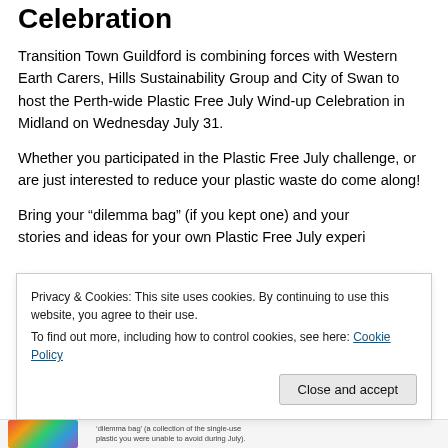Celebration
Transition Town Guildford is combining forces with Western Earth Carers, Hills Sustainability Group and City of Swan to host the Perth-wide Plastic Free July Wind-up Celebration in Midland on Wednesday July 31.
Whether you participated in the Plastic Free July challenge, or are just interested to reduce your plastic waste do come along!
Bring your “dilemma bag” (if you kept one) and your stories and ideas for your own Plastic Free July experience
Privacy & Cookies: This site uses cookies. By continuing to use this website, you agree to their use.
To find out more, including how to control cookies, see here: Cookie Policy
Close and accept
‘dilemma bag’ (a collection of the single-use plastic you were unable to avoid during July).